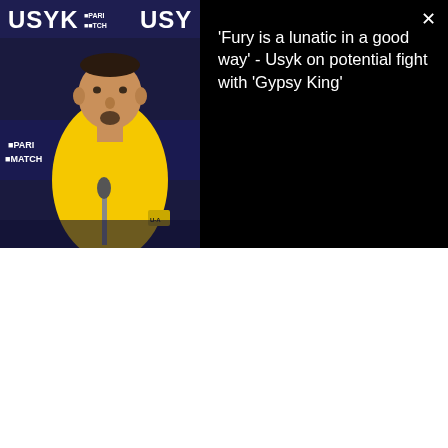[Figure (screenshot): A video thumbnail showing a man in a yellow t-shirt (Usyk) at a press conference with PARI MATCH sponsor banners in the background. A black overlay bar on the right shows the headline text and a close (×) button.]
'Fury is a lunatic in a good way' - Usyk on potential fight with 'Gypsy King'